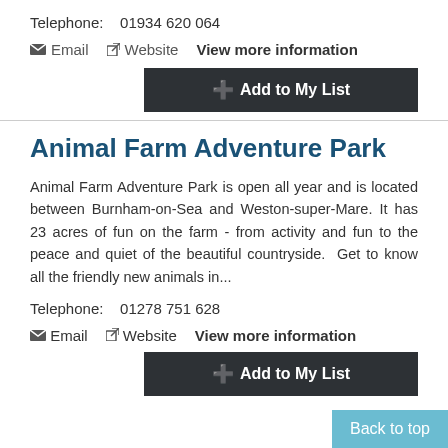Telephone:    01934 620 064
✉ Email    ⧉ Website   View more information
+ Add to My List
Animal Farm Adventure Park
Animal Farm Adventure Park is open all year and is located between Burnham-on-Sea and Weston-super-Mare. It has 23 acres of fun on the farm - from activity and fun to the peace and quiet of the beautiful countryside.  Get to know all the friendly new animals in...
Telephone:    01278 751 628
✉ Email    ⧉ Website   View more information
+ Add to My List
Back to top